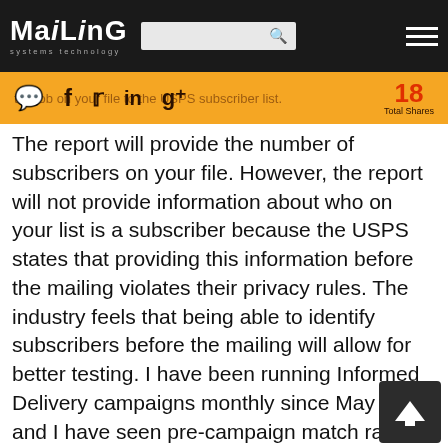Mailing Systems Technology
the job on your file to the USPS subscriber list.
The report will provide the number of subscribers on your file. However, the report will not provide information about who on your list is a subscriber because the USPS states that providing this information before the mailing violates their privacy rules. The industry feels that being able to identify subscribers before the mailing will allow for better testing. I have been running Informed Delivery campaigns monthly since May 2017, and I have seen pre-campaign match rates climb from around one percent to as high as 5.5%